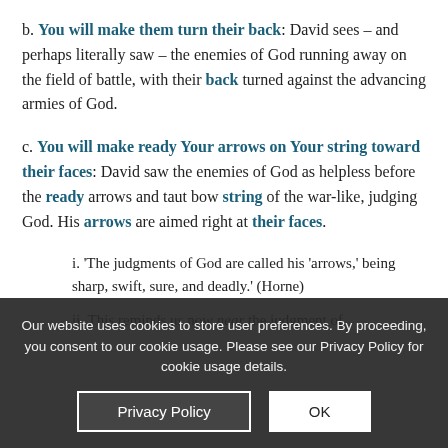b. You will make them turn their back: David sees – and perhaps literally saw – the enemies of God running away on the field of battle, with their back turned against the advancing armies of God.
c. You will make ready Your arrows on Your string toward their faces: David saw the enemies of God as helpless before the ready arrows and taut bow string of the war-like, judging God. His arrows are aimed right at their faces.
i. 'The judgments of God are called his 'arrows,' being sharp, swift, sure, and deadly.' (Horne)
ii. This reminds us now near the judgment of